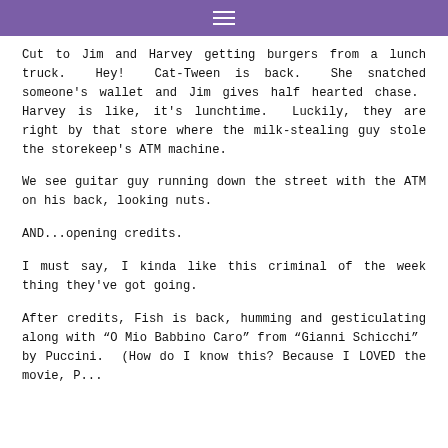≡
Cut to Jim and Harvey getting burgers from a lunch truck. Hey! Cat-Tween is back. She snatched someone's wallet and Jim gives half hearted chase. Harvey is like, it's lunchtime. Luckily, they are right by that store where the milk-stealing guy stole the storekeep's ATM machine.
We see guitar guy running down the street with the ATM on his back, looking nuts.
AND...opening credits.
I must say, I kinda like this criminal of the week thing they've got going.
After credits, Fish is back, humming and gesticulating along with “O Mio Babbino Caro” from “Gianni Schicchi” by Puccini. (How do I know this? Because I LOVED the movie, P...